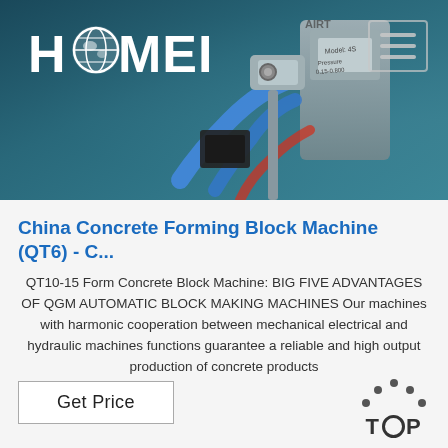[Figure (photo): Industrial machine/pneumatic component close-up with blue hoses and pressure gauge, dark teal background. HAOMEI company logo in white top left, hamburger menu icon top right.]
China Concrete Forming Block Machine (QT6) - C...
QT10-15 Form Concrete Block Machine: BIG FIVE ADVANTAGES OF QGM AUTOMATIC BLOCK MAKING MACHINES Our machines with harmonic cooperation between mechanical electrical and hydraulic machines functions guarantee a reliable and high output production of concrete products
Get Price